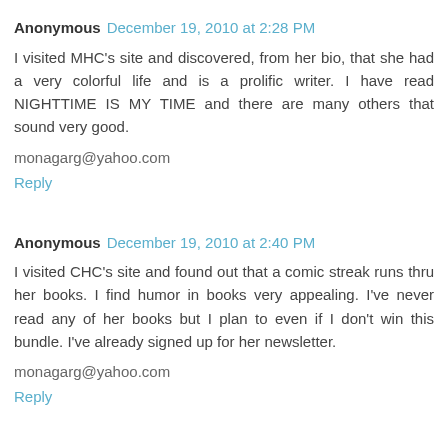Anonymous  December 19, 2010 at 2:28 PM
I visited MHC's site and discovered, from her bio, that she had a very colorful life and is a prolific writer. I have read NIGHTTIME IS MY TIME and there are many others that sound very good.
monagarg@yahoo.com
Reply
Anonymous  December 19, 2010 at 2:40 PM
I visited CHC's site and found out that a comic streak runs thru her books. I find humor in books very appealing. I've never read any of her books but I plan to even if I don't win this bundle. I've already signed up for her newsletter.
monagarg@yahoo.com
Reply